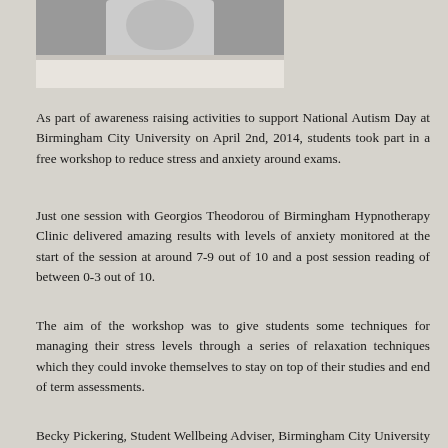[Figure (photo): Bottom portion of a photo showing a person, partially cropped, with a light/white background at the bottom edge]
As part of awareness raising activities to support National Autism Day at Birmingham City University on April 2nd, 2014, students took part in a free workshop to reduce stress and anxiety around exams.
Just one session with Georgios Theodorou of Birmingham Hypnotherapy Clinic delivered amazing results with levels of anxiety monitored at the start of the session at around 7-9 out of 10 and a post session reading of between 0-3 out of 10.
The aim of the workshop was to give students some techniques for managing their stress levels through a series of relaxation techniques which they could invoke themselves to stay on top of their studies and end of term assessments.
Becky Pickering, Student Wellbeing Adviser, Birmingham City University commented: "'The workshop seemed to go really well, the students learned some great techniques for managing stress and